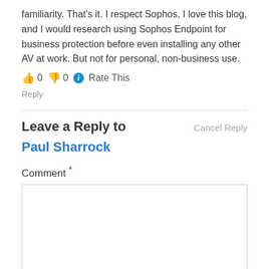familiarity. That's it. I respect Sophos, I love this blog, and I would research using Sophos Endpoint for business protection before even installing any other AV at work. But not for personal, non-business use.
👍 0 👎 0 ℹ Rate This
Reply
Leave a Reply to Paul Sharrock  Cancel Reply
Comment *
[Figure (other): Empty comment text input box]